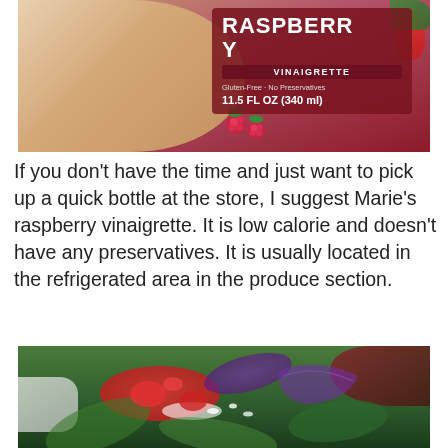[Figure (photo): A hand holding a bottle of Marie's Raspberry Vinaigrette dressing (Gluten-Free, No Preservatives, 11.5 FL OZ / 340 ml) against a background with strawberries and salad greens.]
If you don't have the time and just want to pick up a quick bottle at the store, I suggest Marie's raspberry vinaigrette. It is low calorie and doesn't have any preservatives. It is usually located in the refrigerated area in the produce section.
[Figure (photo): A close-up photo of a salad with mixed greens, strawberries, red onion, crumbled cheese, and raspberry vinaigrette dressing on a white plate.]